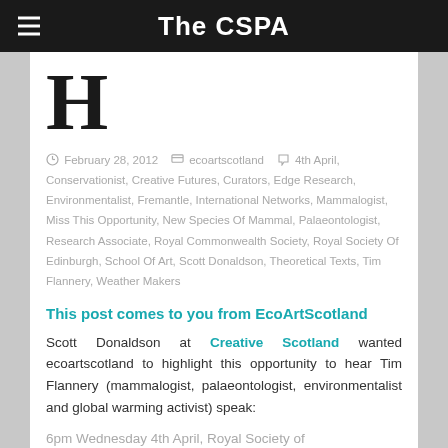The CSPA
[Figure (logo): Large bold serif H letter logo]
February 28, 2012  ecoartscotland  4th April, Conservationist, Creative Futures, Curators, Edge Research, Environmentalist, Fremantle, International Networks, Mammalogist, Miss This Opportunity, New Species Of Mammal, Palaeontologist, Research Associate, Royal Commonwealth Society, Royal Society Of Edinburgh, School Of Art, Scott Donaldson, Theoretical Texts, Tim Flannery, Weather Makers
This post comes to you from EcoArtScotland
Scott Donaldson at Creative Scotland wanted ecoartscotland to highlight this opportunity to hear Tim Flannery (mammalogist, palaeontologist, environmentalist and global warming activist) speak:
6pm Wednesday 4th April, Royal Society of